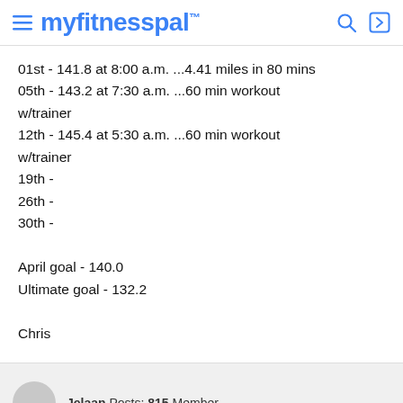myfitnesspal
01st - 141.8 at 8:00 a.m. ...4.41 miles in 80 mins
05th - 143.2 at 7:30 a.m. ...60 min workout w/trainer
12th - 145.4 at 5:30 a.m. ...60 min workout w/trainer
19th -
26th -
30th -

April goal - 140.0
Ultimate goal - 132.2

Chris
Jelaan  Posts: 815  Member